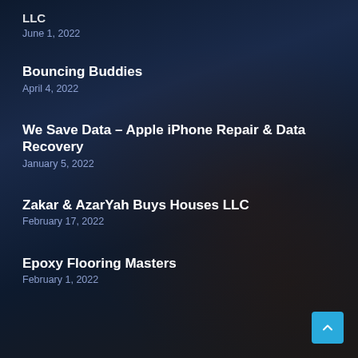[truncated top] LLC
June 1, 2022
Bouncing Buddies
April 4, 2022
We Save Data – Apple iPhone Repair & Data Recovery
January 5, 2022
Zakar & AzarYah Buys Houses LLC
February 17, 2022
Epoxy Flooring Masters
February 1, 2022